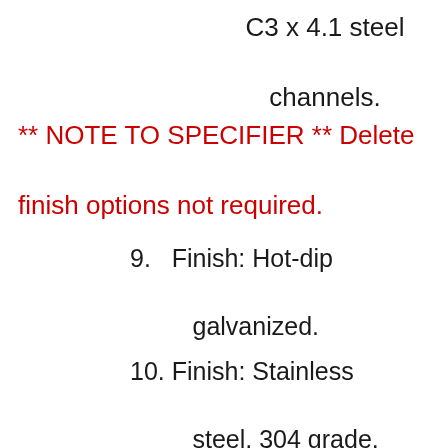C3 x 4.1 steel channels.
** NOTE TO SPECIFIER ** Delete finish options not required.
9.  Finish: Hot-dip galvanized.
10. Finish: Stainless steel, 304 grade, with No. 4 finish and